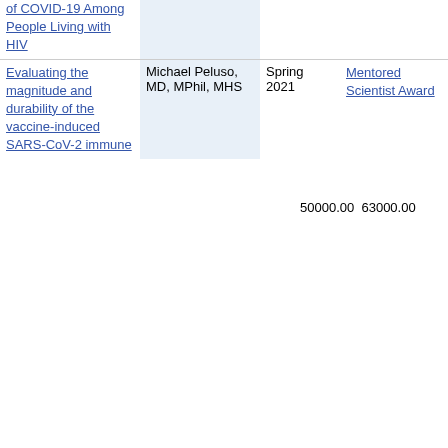| Project Title | Investigator | Period | Award Type | Amount Requested | Amount Awarded |
| --- | --- | --- | --- | --- | --- |
| of COVID-19 Among People Living with HIV |  |  |  |  |  |
| Evaluating the magnitude and durability of the vaccine-induced SARS-CoV-2 immune | Michael Peluso, MD, MPhil, MHS | Spring 2021 | Mentored Scientist Award | 50000.00 | 63000.00 |